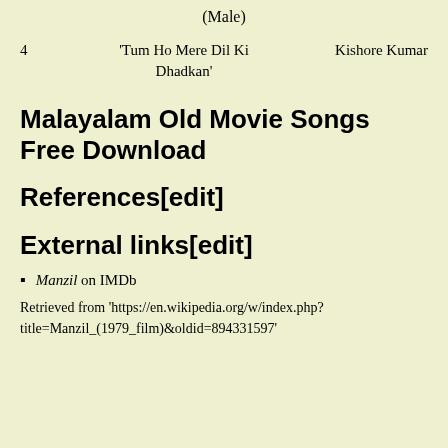(Male)
| 4 | 'Tum Ho Mere Dil Ki Dhadkan' | Kishore Kumar |
Malayalam Old Movie Songs Free Download
References[edit]
External links[edit]
Manzil on IMDb
Retrieved from 'https://en.wikipedia.org/w/index.php?title=Manzil_(1979_film)&oldid=894331597'